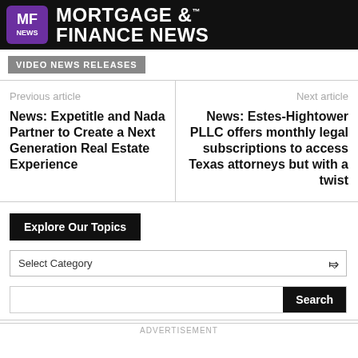MORTGAGE & FINANCE NEWS
VIDEO NEWS RELEASES
Previous article
News: Expetitle and Nada Partner to Create a Next Generation Real Estate Experience
Next article
News: Estes-Hightower PLLC offers monthly legal subscriptions to access Texas attorneys but with a twist
Explore Our Topics
Select Category
Search
ADVERTISEMENT